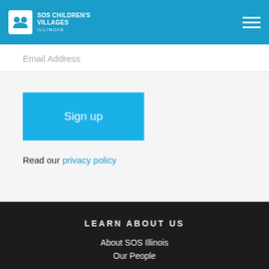SOS CHILDREN'S VILLAGES ILLINOIS
Email Address
Sign up
Read our privacy policy
LEARN ABOUT US
About SOS Illinois
Our People